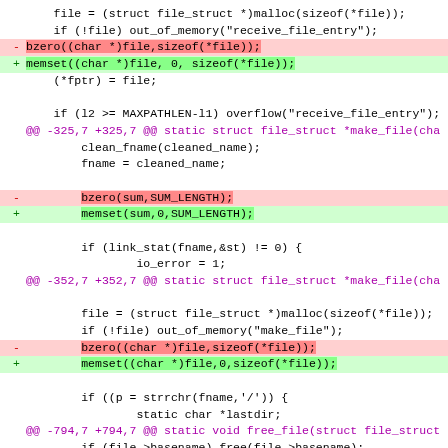[Figure (screenshot): A unified diff (patch) showing replacement of bzero() calls with memset() calls in C source code. Lines with '-' show removed code highlighted in red/pink, lines with '+' show added code highlighted in green. Hunk headers are shown in purple/magenta. Context lines are shown in normal white background.]